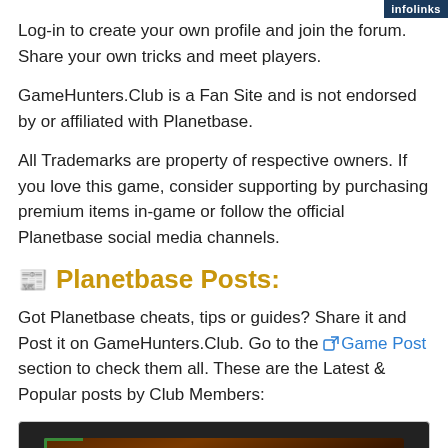infolinks
Log-in to create your own profile and join the forum. Share your own tricks and meet players.
GameHunters.Club is a Fan Site and is not endorsed by or affiliated with Planetbase.
All Trademarks are property of respective owners. If you love this game, consider supporting by purchasing premium items in-game or follow the official Planetbase social media channels.
Planetbase Posts:
Got Planetbase cheats, tips or guides? Share it and Post it on GameHunters.Club. Go to the Game Post section to check them all. These are the Latest & Popular posts by Club Members:
[Figure (screenshot): Screenshot showing the Planetbase game logo on a dark brown/reddish background with green corner accent lines]